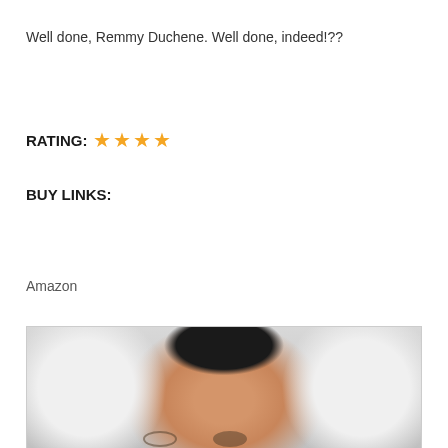Well done, Remmy Duchene. Well done, indeed!??
RATING: ★★★★
BUY LINKS:
Amazon
[Figure (photo): A close-up photo of a person with dark hair, wearing a white fluffy garment, with a warm golden glow on their forehead. Only the top portion of the face (hair and forehead) is visible.]